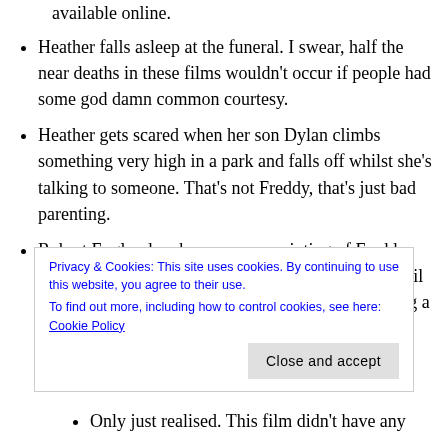available online.
Heather falls asleep at the funeral. I swear, half the near deaths in these films wouldn’t occur if people had some god damn common courtesy.
Heather gets scared when her son Dylan climbs something very high in a park and falls off whilst she’s talking to someone. That’s not Freddy, that’s just bad parenting.
Robert Englund makes a creepy painting of Freddy. But for some reason he doesn’t seem to realise it until he’s finished painting. This would be like me writing a story, getting to the very end
Privacy & Cookies: This site uses cookies. By continuing to use this website, you agree to their use.
To find out more, including how to control cookies, see here: Cookie Policy
Only just realised. This film didn’t have any